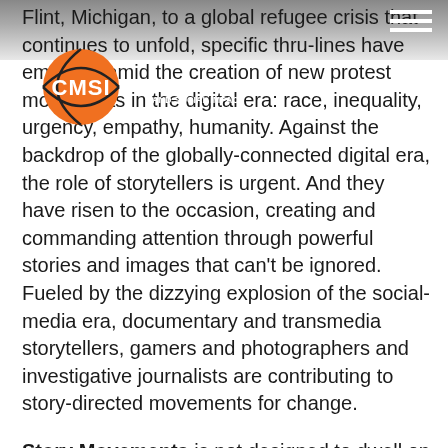[Figure (logo): CMSI Center for Media and Social Impact orange circular logo with basketball-like design]
Flint, Michigan, to a global refugee crisis that continues to unfold, specific thru-lines have emerged amid the creation of new protest movements in the digital era: race, inequality, urgency, empathy, humanity. Against the backdrop of the globally-connected digital era, the role of storytellers is urgent. And they have risen to the occasion, creating and commanding attention through powerful stories and images that can't be ignored. Fueled by the dizzying explosion of the social-media era, documentary and transmedia storytellers, gamers and photographers and investigative journalists are contributing to story-directed movements for change.
Story Movements is not designed to dwell on social justice problems. It is designed to ask and answer "why" and "how." It is designed to inspire, to build, to shape and to leave with blueprints for success for the future – for filmmakers, digital storytellers, funders, advocates, strategists and students. It is designed to smash through silos and bring storytellers, strategists,